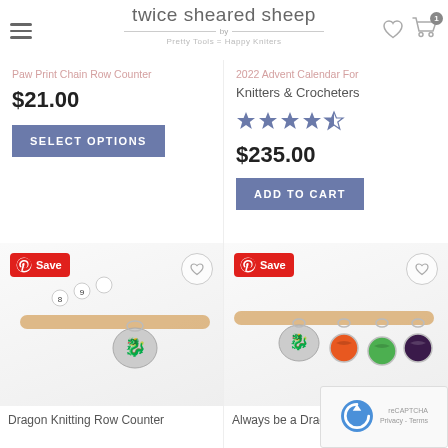twice sheared sheep — Pretty Tools = Happy Kniters
Paw Print Chain Row Counter
$21.00
SELECT OPTIONS
2022 Advent Calendar For Knitters & Crocheters
$235.00
ADD TO CART
[Figure (photo): Dragon Knitting Row Counter product photo — beaded chain with dragon charm on wooden knitting needle]
Dragon Knitting Row Counter
[Figure (photo): Always be a Dragon stitch markers — set of colorful dragon scale stitch markers on a knitting needle]
Always be a Dragon stitch